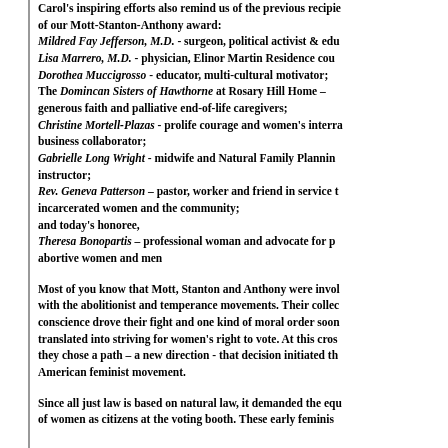Carol's inspiring efforts also remind us of the previous recipients of our Mott-Stanton-Anthony award: Mildred Fay Jefferson, M.D. - surgeon, political activist & edu[cator]; Lisa Marrero, M.D. - physician, Elinor Martin Residence cou[nselor]; Dorothea Muccigrosso - educator, multi-cultural motivator; The Domincan Sisters of Hawthorne at Rosary Hill Home – generous faith and palliative end-of-life caregivers; Christine Mortell-Plazas - prolife courage and women's interr[ational] business collaborator; Gabrielle Long Wright - midwife and Natural Family Plannin[g] instructor; Rev. Geneva Patterson – pastor, worker and friend in service t[o] incarcerated women and the community; and today's honoree, Theresa Bonopartis – professional woman and advocate for p[ost-]abortive women and men
Most of you know that Mott, Stanton and Anthony were invol[ved] with the abolitionist and temperance movements. Their collec[tive] conscience drove their fight and one kind of moral order soon translated into striving for women's right to vote. At this cros[sroad] they chose a path – a new direction - that decision initiated th[e] American feminist movement.
Since all just law is based on natural law, it demanded the equ[ality] of women as citizens at the voting booth. These early feminis[ts...]